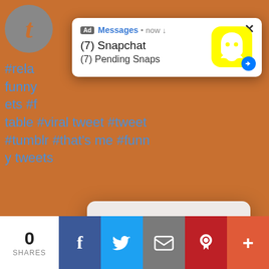[Figure (screenshot): Screenshot of a Tumblr page with orange/brown background showing hashtag links (#rela, #funny, #ets, #viral tweet, #tweet, #tumblr, #that's me, #funny tweets), a note count '314 notes', username 'nav-ye-ah' and '4 months ago' timestamp, and a photo of Rocket Raccoon (from Guardians of the Galaxy) in formal attire sitting at a table]
[Figure (screenshot): Snapchat push notification ad overlay showing Ad badge, 'Messages • now ↓', '(7) Snapchat', '(7) Pending Snaps', with Snapchat yellow ghost logo icon and an X close button]
[Figure (screenshot): iOS-style alert dialog with bold text 'Click OK To Continue' and a blue 'OK' button]
[Figure (infographic): Social share bar at the bottom showing 0 SHARES, Facebook (f), Twitter (bird), Email (envelope), Pinterest (P), and plus (+) buttons]